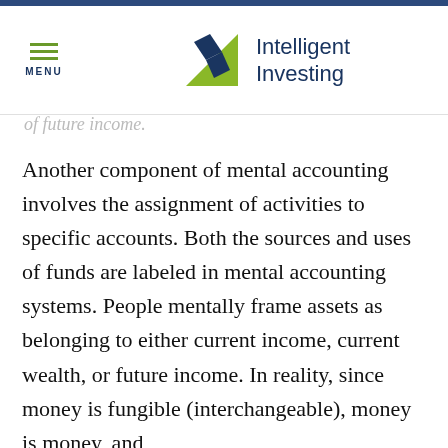MENU | Intelligent Investing
of future income.
Another component of mental accounting involves the assignment of activities to specific accounts. Both the sources and uses of funds are labeled in mental accounting systems. People mentally frame assets as belonging to either current income, current wealth, or future income. In reality, since money is fungible (interchangeable), money is money, and should always...